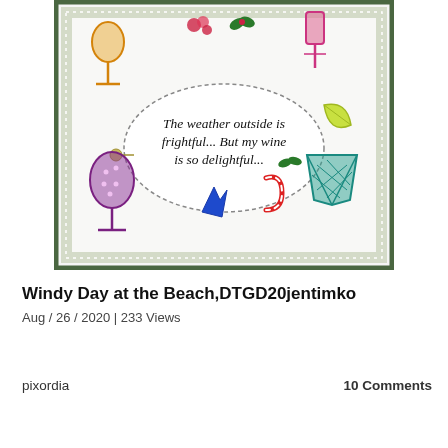[Figure (photo): A handmade greeting card with a dark green dotted border on a light green background. Various wine glass stamps in orange, purple, pink, teal are scattered around. In the center is a dashed oval containing the text: 'The weather outside is frightful... But my wine is so delightful...' with a holly sprig illustration. Other small decorative stamps include a red candy cane, blue figure, lime wedge, red berry, and holly leaves.]
Windy Day at the Beach,DTGD20jentimko
Aug / 26 / 2020 | 233 Views
pixordia
10 Comments